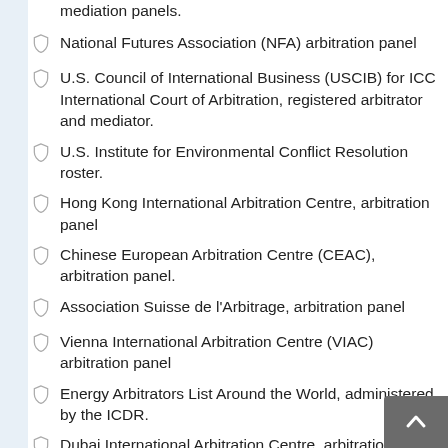mediation panels.
National Futures Association (NFA) arbitration panel
U.S. Council of International Business (USCIB) for ICC International Court of Arbitration, registered arbitrator and mediator.
U.S. Institute for Environmental Conflict Resolution roster.
Hong Kong International Arbitration Centre, arbitration panel
Chinese European Arbitration Centre (CEAC), arbitration panel.
Association Suisse de l'Arbitrage, arbitration panel
Vienna International Arbitration Centre (VIAC) arbitration panel
Energy Arbitrators List Around the World, administered by the ICDR.
Dubai International Arbitration Centre, arbitration panel
Kuala Lumpur Regional Centre for Arbitration, arbitration panel
South China International Economic and Trade Arbitration Commission, Shenzhen Court of